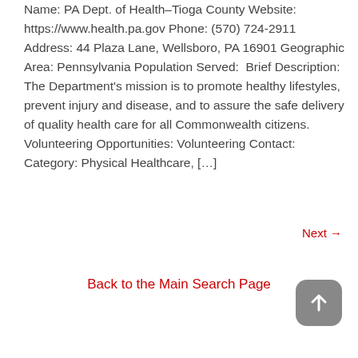Name: PA Dept. of Health–Tioga County Website: https://www.health.pa.gov Phone: (570) 724-2911 Address: 44 Plaza Lane, Wellsboro, PA 16901 Geographic Area: Pennsylvania Population Served:  Brief Description: The Department's mission is to promote healthy lifestyles, prevent injury and disease, and to assure the safe delivery of quality health care for all Commonwealth citizens. Volunteering Opportunities: Volunteering Contact: Category: Physical Healthcare, […]
Next →
Back to the Main Search Page